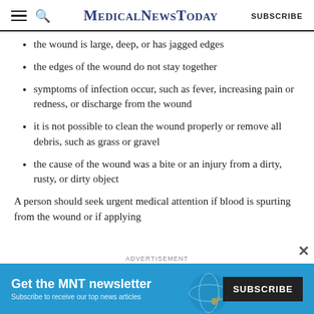MedicalNewsToday SUBSCRIBE
the wound is large, deep, or has jagged edges
the edges of the wound do not stay together
symptoms of infection occur, such as fever, increasing pain or redness, or discharge from the wound
it is not possible to clean the wound properly or remove all debris, such as grass or gravel
the cause of the wound was a bite or an injury from a dirty, rusty, or dirty object
A person should seek urgent medical attention if blood is spurting from the wound or if applying
[Figure (infographic): Advertisement banner: Get the MNT newsletter. Subscribe to receive our top news articles. SUBSCRIBE button.]